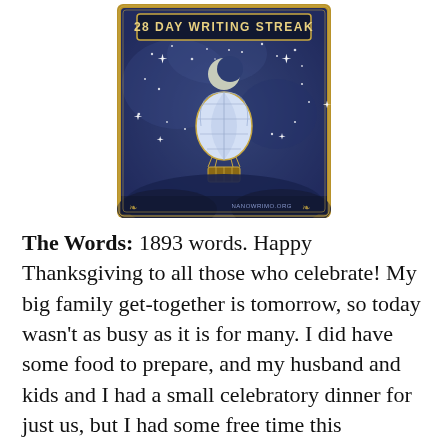[Figure (illustration): A badge image showing '28 DAY WRITING STREAK' text at the top on a dark blue starry night sky background with a hot air balloon and crescent moon in the center. Stars sparkle around the balloon. The badge has a gold decorative border. Text 'NANOWRIMO.ORG' appears at the bottom right.]
The Words: 1893 words. Happy Thanksgiving to all those who celebrate! My big family get-together is tomorrow, so today wasn't as busy as it is for many. I did have some food to prepare, and my husband and kids and I had a small celebratory dinner for just us, but I had some free time this afternoon. Unfortunately, a collaboration of events kept me from getting any writing in until after my daughter went to bed anyway. But I still managed to get plenty of writing in at that time